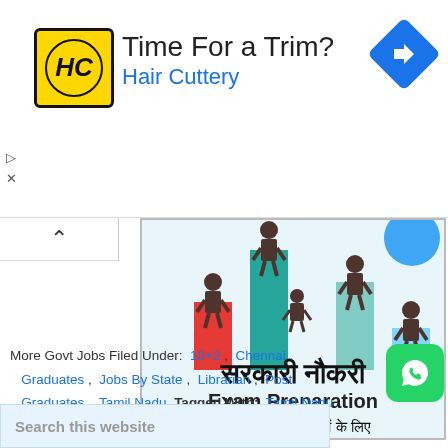[Figure (screenshot): Advertisement banner for Hair Cuttery with logo, 'Time For a Trim?' headline, and navigation icon]
[Figure (infographic): Sarkari Naukri Exam Preparation banner in Hindi and English with bar chart figures and human silhouettes]
More Govt Jobs Filed Under: 10+2 , Chennai , Graduates , Jobs By State , Librarian , Post Graduates , Tamil Nadu Tagged With: Tamil Nadu
Search this website